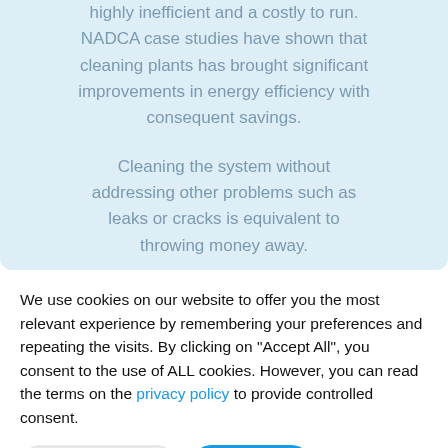highly inefficient and a costly to run. NADCA case studies have shown that cleaning plants has brought significant improvements in energy efficiency with consequent savings.
Cleaning the system without addressing other problems such as leaks or cracks is equivalent to throwing money away.
We use cookies on our website to offer you the most relevant experience by remembering your preferences and repeating the visits. By clicking on "Accept All", you consent to the use of ALL cookies. However, you can read the terms on the privacy policy to provide controlled consent.